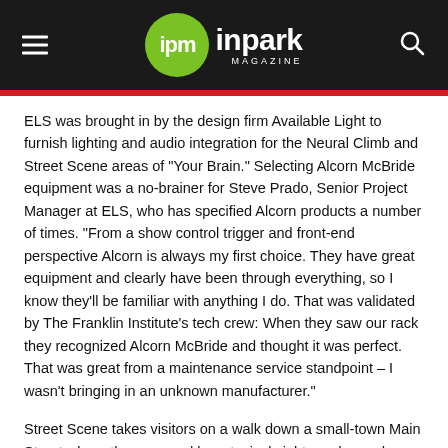[Figure (logo): IPM InPark Magazine logo on dark header bar with hamburger menu icon on left and search icon on right]
ELS was brought in by the design firm Available Light to furnish lighting and audio integration for the Neural Climb and Street Scene areas of "Your Brain." Selecting Alcorn McBride equipment was a no-brainer for Steve Prado, Senior Project Manager at ELS, who has specified Alcorn products a number of times. "From a show control trigger and front-end perspective Alcorn is always my first choice. They have great equipment and clearly have been through everything, so I know they'll be familiar with anything I do. That was validated by The Franklin Institute's tech crew: When they saw our rack they recognized Alcorn McBride and thought it was perfect. That was great from a maintenance service standpoint – I wasn't bringing in an unknown manufacturer."
Street Scene takes visitors on a walk down a small-town Main Street where they see and hear typical sights and sounds. "Alcorn McBride's ProTraXX supplies audio effects playback on a loop that